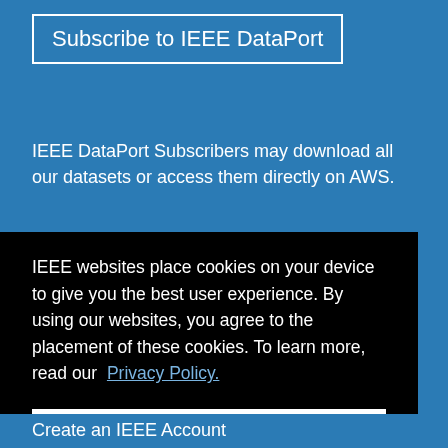Subscribe to IEEE DataPort
IEEE DataPort Subscribers may download all our datasets or access them directly on AWS.
IEEE websites place cookies on your device to give you the best user experience. By using our websites, you agree to the placement of these cookies. To learn more, read our Privacy Policy.
Accept & Close
Create an IEEE Account